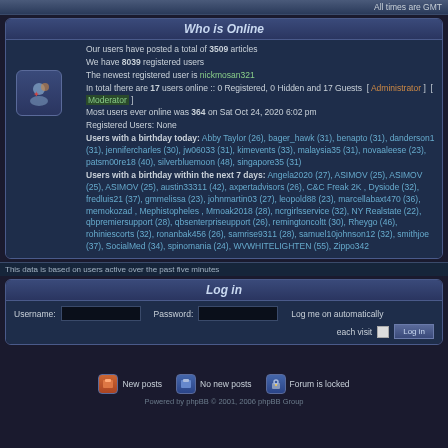All times are GMT
Who is Online
Our users have posted a total of 3509 articles
We have 8039 registered users
The newest registered user is nickmosan321
In total there are 17 users online :: 0 Registered, 0 Hidden and 17 Guests [ Administrator ] [ Moderator ]
Most users ever online was 364 on Sat Oct 24, 2020 6:02 pm
Registered Users: None
Users with a birthday today: Abby Taylor (26), bager_hawk (31), benapto (31), danderson1 (31), jennifercharles (30), jw06033 (31), kimevents (33), malaysia35 (31), novaaleese (23), patsm00re18 (40), silverbluemoon (48), singapore35 (31)
Users with a birthday within the next 7 days: Angela2020 (27), ASIMOV (25), ASIMOV (25), ASIMOV (25), austin33311 (42), axpertadvisors (26), C&C Freak 2K , Dysiode (32), fredluis21 (37), gmmelissa (23), johnmartin03 (27), leopold88 (23), marcellabaxt470 (36), memokozad , Mephistopheles , Mmoak2018 (28), ncrgirlsservice (32), NY Realstate (22), qbpremiersupport (28), qbsenterpriseupport (26), remingtoncoltt (30), Rheygo (46), rohiniescorts (32), ronanbak456 (26), samrise9311 (28), samuel10johnson12 (32), smithjoe (37), SocialMed (34), spinomania (24), WVWHITELIGHTEN (55), Zippo342
This data is based on users active over the past five minutes
Log in
Username: [input] Password: [input] Log me on automatically each visit [checkbox] Log in
[Figure (infographic): Legend icons: New posts, No new posts, Forum is locked]
Powered by phpBB © 2001, 2006 phpBB Group